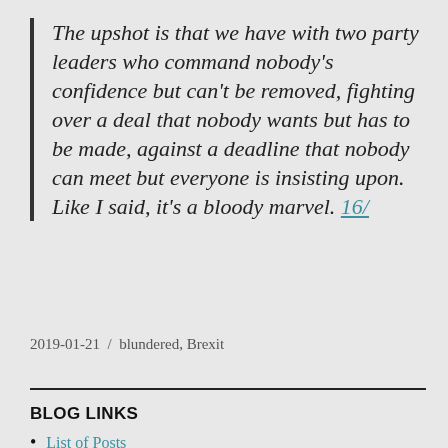The upshot is that we have with two party leaders who command nobody's confidence but can't be removed, fighting over a deal that nobody wants but has to be made, against a deadline that nobody can meet but everyone is insisting upon. Like I said, it's a bloody marvel. 16/
2019-01-21 / blundered, Brexit
BLOG LINKS
List of Posts